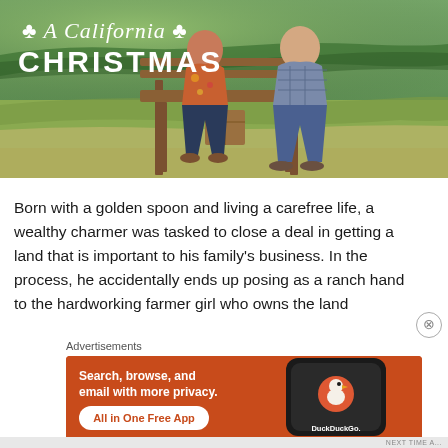[Figure (photo): Movie promotional image for 'A California Christmas' showing two people (a woman and a man) sitting on a wooden bench in a rural farm/vineyard setting. Text overlay reads 'A California CHRISTMAS' in stylized script and bold serif font on the left side.]
Born with a golden spoon and living a carefree life, a wealthy charmer was tasked to close a deal in getting a land that is important to his family's business. In the process, he accidentally ends up posing as a ranch hand to the hardworking farmer girl who owns the land
Advertisements
[Figure (infographic): DuckDuckGo advertisement banner with orange/red background. Text reads 'Search, browse, and email with more privacy. All in One Free App' with a white button. Shows a dark phone mockup with DuckDuckGo logo and 'DuckDuckGo.' text.]